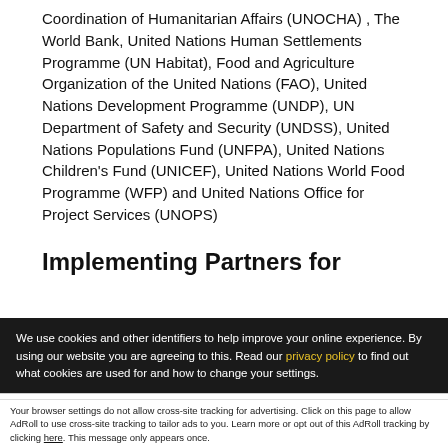Coordination of Humanitarian Affairs (UNOCHA) , The World Bank, United Nations Human Settlements Programme (UN Habitat), Food and Agriculture Organization of the United Nations (FAO), United Nations Development Programme (UNDP), UN Department of Safety and Security (UNDSS), United Nations Populations Fund (UNFPA), United Nations Children's Fund (UNICEF), United Nations World Food Programme (WFP) and United Nations Office for Project Services (UNOPS)
Implementing Partners for
We use cookies and other identifiers to help improve your online experience. By using our website you are agreeing to this. Read our privacy policy to find out what cookies are used for and how to change your settings.
Accept and Close ✕
Your browser settings do not allow cross-site tracking for advertising. Click on this page to allow AdRoll to use cross-site tracking to tailor ads to you. Learn more or opt out of this AdRoll tracking by clicking here. This message only appears once.